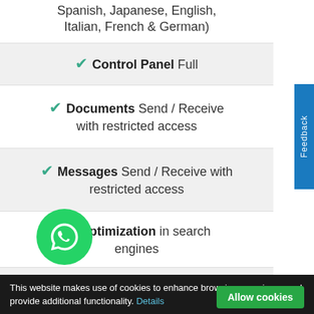Spanish, Japanese, English, Italian, French & German)
✔ Control Panel Full
✔ Documents Send / Receive with restricted access
✔ Messages Send / Receive with restricted access
✔ Optimization in search engines
✔ Support included
[Figure (other): WhatsApp contact button - green circle with phone handset icon]
✔ Support for register yo...
This website makes use of cookies to enhance browsing experience and provide additional functionality. Details  Allow cookies